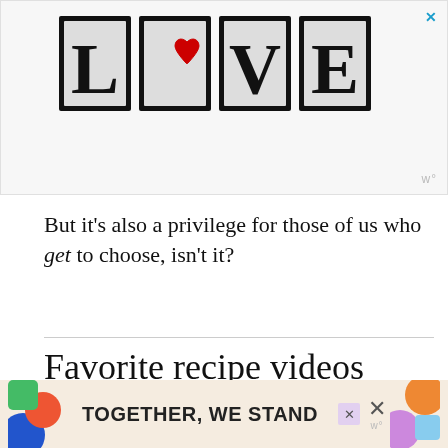[Figure (illustration): Advertisement banner showing stylized 'LOVE' text logo with illustrated patterns inside each letter, close button (×) in blue top right, and watermark 'w°' bottom right]
But it's also a privilege for those of us who get to choose, isn't it?
Favorite recipe videos
[Figure (illustration): Advertisement banner reading 'TOGETHER, WE STAND' with colorful abstract shapes on left and right, close button ×, and watermark 'w°' bottom right]